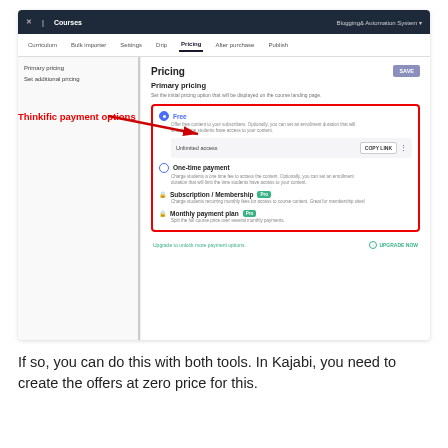[Figure (screenshot): Thinkific course Pricing settings page screenshot showing payment options: Free (selected, with Unlimited access and COPY LINK button), One-time payment, Subscription/Membership (Pro), Monthly payment plan (Pro). Red border highlights the payment options. Red annotation arrow points to options with label 'Thinkific payment options'. Top nav shows Courses / Blogging& Automation System. Tabs: Curriculum, Bulk importer, Settings, Drip, Pricing (active), After purchase, Publish.]
If so, you can do this with both tools. In Kajabi, you need to create the offers at zero price for this.